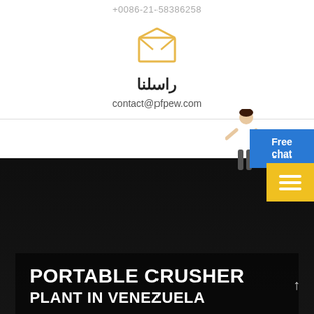+0086-21-58386258
[Figure (illustration): Yellow envelope/email icon (open envelope outline in gold/yellow color)]
راسلنا
contact@pfpew.com
الحصول على استشارة مجانية
[Figure (screenshot): Blue Free chat widget button in top right corner]
[Figure (screenshot): Yellow hamburger menu widget in right side]
[Figure (photo): Dark background with industrial crusher machinery]
PORTABLE CRUSHER PLANT IN VENEZUELA